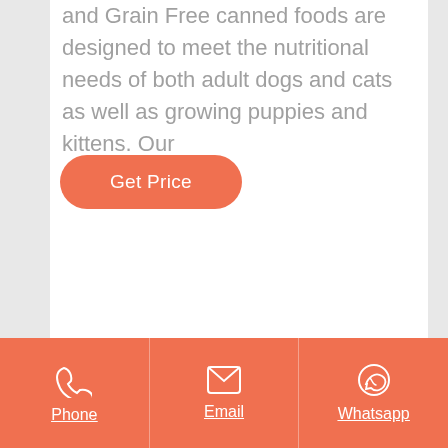and Grain Free canned foods are designed to meet the nutritional needs of both adult dogs and cats as well as growing puppies and kittens. Our
[Figure (other): Orange rounded button with white text 'Get Price']
Phone | Email | Whatsapp